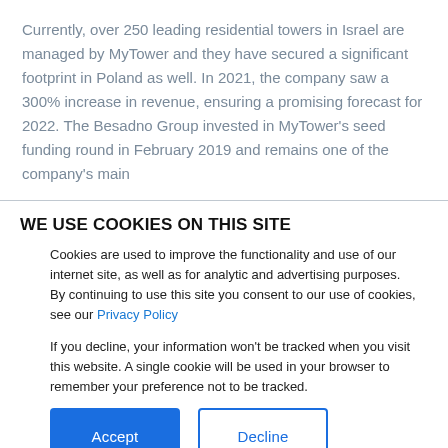Currently, over 250 leading residential towers in Israel are managed by MyTower and they have secured a significant footprint in Poland as well. In 2021, the company saw a 300% increase in revenue, ensuring a promising forecast for 2022. The Besadno Group invested in MyTower's seed funding round in February 2019 and remains one of the company's main
WE USE COOKIES ON THIS SITE
Cookies are used to improve the functionality and use of our internet site, as well as for analytic and advertising purposes. By continuing to use this site you consent to our use of cookies, see our Privacy Policy
If you decline, your information won't be tracked when you visit this website. A single cookie will be used in your browser to remember your preference not to be tracked.